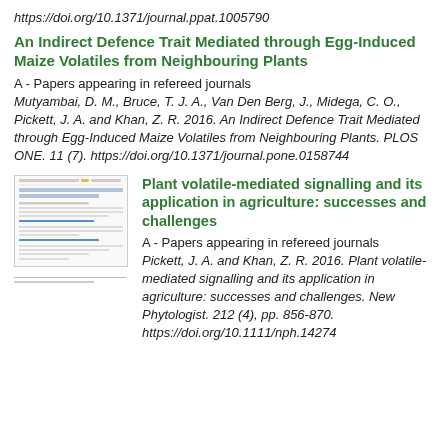https://doi.org/10.1371/journal.ppat.1005790
An Indirect Defence Trait Mediated through Egg-Induced Maize Volatiles from Neighbouring Plants
A - Papers appearing in refereed journals
Mutyambai, D. M., Bruce, T. J. A., Van Den Berg, J., Midega, C. O., Pickett, J. A. and Khan, Z. R. 2016. An Indirect Defence Trait Mediated through Egg-Induced Maize Volatiles from Neighbouring Plants. PLOS ONE. 11 (7). https://doi.org/10.1371/journal.pone.0158744
[Figure (screenshot): Thumbnail screenshot of a document page showing the referenced article layout with blue hyperlinks and text content.]
Plant volatile-mediated signalling and its application in agriculture: successes and challenges
A - Papers appearing in refereed journals
Pickett, J. A. and Khan, Z. R. 2016. Plant volatile-mediated signalling and its application in agriculture: successes and challenges. New Phytologist. 212 (4), pp. 856-870. https://doi.org/10.1111/nph.14274